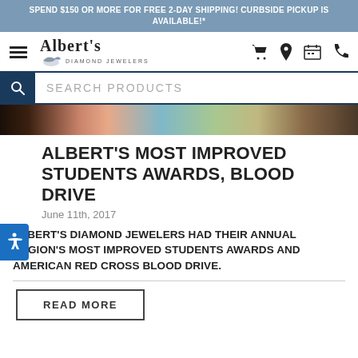SPEND $150 OR MORE FOR FREE 2-DAY SHIPPING! CURBSIDE PICKUP IS AVAILABLE!*
[Figure (logo): Albert's Diamond Jewelers logo with hamburger menu and navigation icons (cart, location, calendar, phone)]
[Figure (screenshot): Search products bar with magnifying glass icon and 'SEARCH PRODUCTS' placeholder text]
[Figure (photo): Partial photo strip showing people standing together]
ALBERT'S MOST IMPROVED STUDENTS AWARDS, BLOOD DRIVE
June 11th, 2017
ALBERT'S DIAMOND JEWELERS HAD THEIR ANNUAL REGION'S MOST IMPROVED STUDENTS AWARDS AND AMERICAN RED CROSS BLOOD DRIVE.
READ MORE